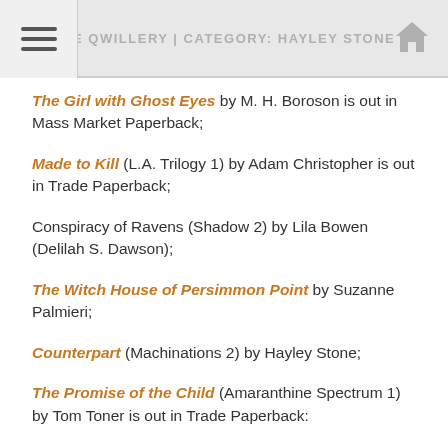THE QWILLERY | CATEGORY: HAYLEY STONE
The Girl with Ghost Eyes by M. H. Boroson is out in Mass Market Paperback;
Made to Kill (L.A. Trilogy 1) by Adam Christopher is out in Trade Paperback;
Conspiracy of Ravens (Shadow 2) by Lila Bowen (Delilah S. Dawson);
The Witch House of Persimmon Point by Suzanne Palmieri;
Counterpart (Machinations 2) by Hayley Stone;
The Promise of the Child (Amaranthine Spectrum 1) by Tom Toner is out in Trade Paperback: